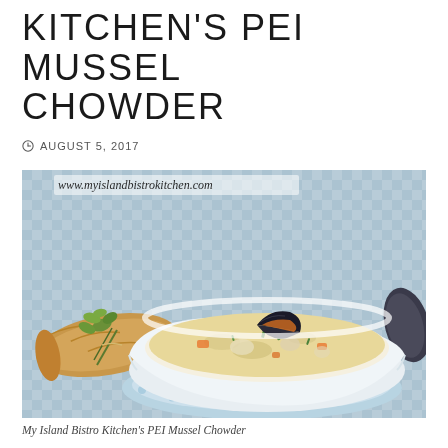KITCHEN'S PEI MUSSEL CHOWDER
AUGUST 5, 2017
[Figure (photo): A white ceramic bowl filled with creamy PEI mussel chowder, garnished with chopped chives and a whole mussel on top, served on a light blue plate alongside a baguette and fresh herbs, on a blue checked tablecloth. Watermark: www.myislandbistrokitchen.com]
My Island Bistro Kitchen's PEI Mussel Chowder